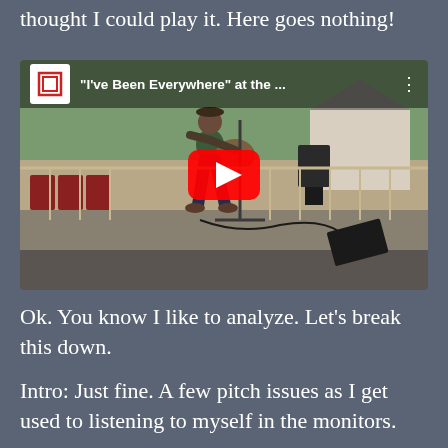thought I could play it. Here goes nothing!
[Figure (screenshot): YouTube video thumbnail showing a person playing guitar on an outdoor stage/deck. The video title reads '"I've Been Everywhere" at the ...' with the YouTube logo and a red play button overlay.]
Ok. You know I like to analyze. Let's break this down.
Intro: Just fine. A few pitch issues as I get used to listening to myself in the monitors.